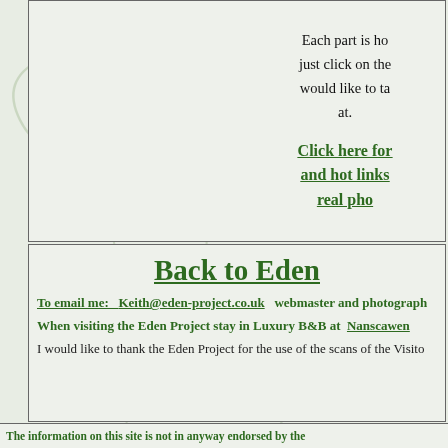Each part is ho just click on the would like to ta at.
Click here for and hot links real pho
Back to Eden
To email me:   Keith@eden-project.co.uk   webmaster and photograph
When visiting the Eden Project stay in Luxury B&B at  Nanscawen
I would like to thank the Eden Project for the use of the scans of the Visito
The information on this site is not in anyway endorsed by the